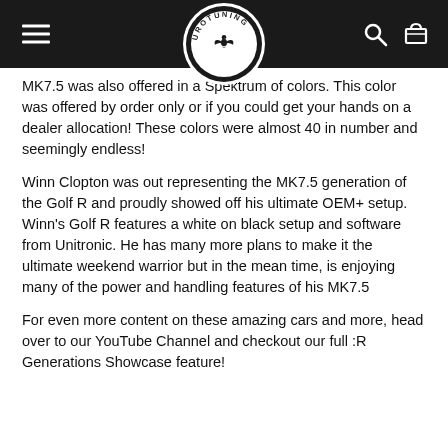UROTUNING
MK7.5 was also offered in a Spektrum of colors. This color was offered by order only or if you could get your hands on a dealer allocation! These colors were almost 40 in number and seemingly endless!
Winn Clopton was out representing the MK7.5 generation of the Golf R and proudly showed off his ultimate OEM+ setup. Winn's Golf R features a white on black setup and software from Unitronic. He has many more plans to make it the ultimate weekend warrior but in the mean time, is enjoying many of the power and handling features of his MK7.5
For even more content on these amazing cars and more, head over to our YouTube Channel and checkout our full :R Generations Showcase feature!